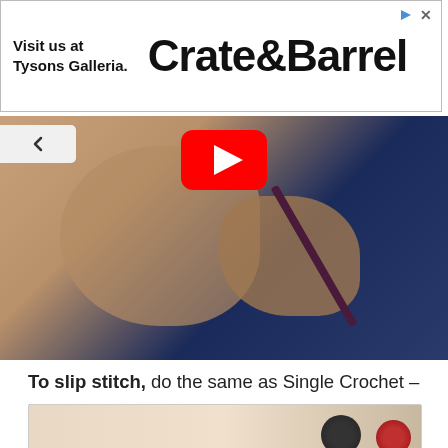[Figure (screenshot): Crate & Barrel advertisement banner: 'Visit us at Tysons Galleria.' on the left, large 'Crate&Barrel' brand name on the right, with play and close icons in top right corner.]
[Figure (screenshot): Video thumbnail showing close-up of hands using a crochet hook with yarn, with YouTube play button overlay and a back/up arrow button on the top left.]
To slip stitch, do the same as Single Crochet – insert hook and yarn over – then pull through both the loops so you are left with one loop on the hook.
[Figure (photo): Partial view of a crocheted item, appearing to show a colorful crochet project on a light surface.]